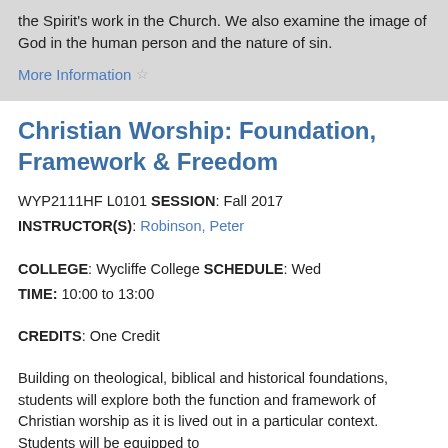the Spirit's work in the Church. We also examine the image of God in the human person and the nature of sin.
More Information ☆
Christian Worship: Foundation, Framework & Freedom
WYP2111HF L0101 SESSION: Fall 2017
INSTRUCTOR(S): Robinson, Peter
COLLEGE: Wycliffe College SCHEDULE: Wed
TIME: 10:00 to 13:00
CREDITS: One Credit
Building on theological, biblical and historical foundations, students will explore both the function and framework of Christian worship as it is lived out in a particular context. Students will be equipped to